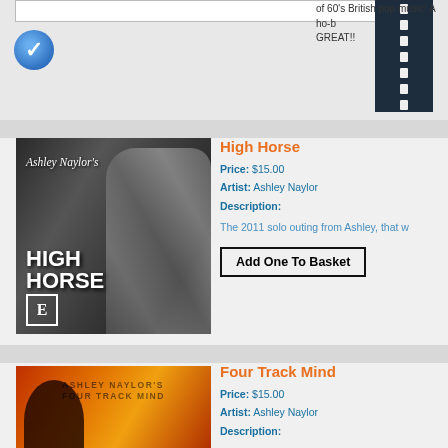[Figure (screenshot): Top partial section showing a white input box, a blue film strip element, and a blue checkmark icon on grey background]
of 60's British pop music! A ho-b... GREAT!!
[Figure (photo): Album cover for Ashley Naylor's High Horse - black and white photo of a man with text HIGH HORSE]
High Horse
Price: $15.00
Artist: Ashley Naylor
Description:
The 2011 solo outing from Ashley, that w...
Add One To Basket
[Figure (photo): Album cover for Ashley Naylor's Four Track Mind - orange/red background with silhouette]
Four Track Mind
Price: $15.00
Artist: Ashley Naylor
Description:
2004 solo outing fro ... read more »